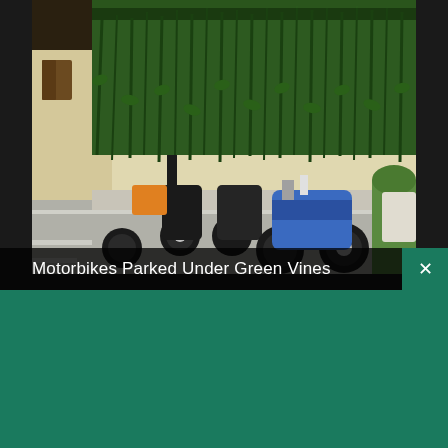[Figure (photo): Street scene showing motorbikes parked in front of a building covered with hanging green vines. Multiple motorcycles are visible on the sidewalk and road.]
Motorbikes Parked Under Green Vines
[Figure (logo): Shopify logo — white shopping bag icon with 'shopify' text in white on green background]
Need an online store for your business?
Start free trial